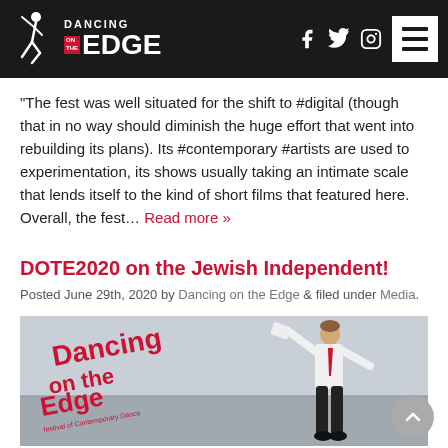[Figure (logo): Dancing on the Edge logo — white dancer silhouette on black background with red accent, text 'DANCING ON THE EDGE']
“The fest was well situated for the shift to #digital (though that in no way should diminish the huge effort that went into rebuilding its plans). Its #contemporary #artists are used to experimentation, its shows usually taking an intimate scale that lends itself to the kind of short films that featured here. Overall, the fest… Read more »
DOTE2020 on the Jewish Independent!
Posted June 29th, 2020 by Dancing on the Edge & filed under Media.
[Figure (photo): Dancing on the Edge promotional image showing a dancer in white shirt and red tie leaping outdoors, with 'Dancing on the Edge festival of Contemporary Dance' text overlay in red]